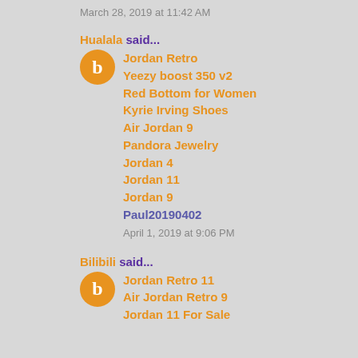March 28, 2019 at 11:42 AM
Hualala said...
Jordan Retro
Yeezy boost 350 v2
Red Bottom for Women
Kyrie Irving Shoes
Air Jordan 9
Pandora Jewelry
Jordan 4
Jordan 11
Jordan 9
Paul20190402
April 1, 2019 at 9:06 PM
Bilibili said...
Jordan Retro 11
Air Jordan Retro 9
Jordan 11 For Sale